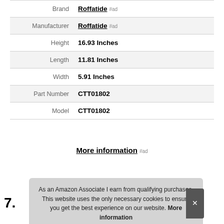| Attribute | Value |
| --- | --- |
| Brand | Roffatide #ad |
| Manufacturer | Roffatide #ad |
| Height | 16.93 Inches |
| Length | 11.81 Inches |
| Width | 5.91 Inches |
| Part Number | CTT01802 |
| Model | CTT01802 |
More information #ad
As an Amazon Associate I earn from qualifying purchases. This website uses the only necessary cookies to ensure you get the best experience on our website. More information